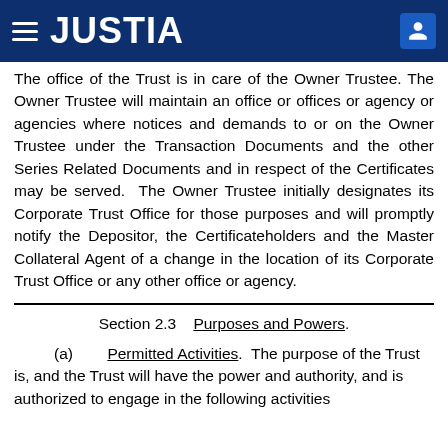JUSTIA
The office of the Trust is in care of the Owner Trustee. The Owner Trustee will maintain an office or offices or agency or agencies where notices and demands to or on the Owner Trustee under the Transaction Documents and the other Series Related Documents and in respect of the Certificates may be served. The Owner Trustee initially designates its Corporate Trust Office for those purposes and will promptly notify the Depositor, the Certificateholders and the Master Collateral Agent of a change in the location of its Corporate Trust Office or any other office or agency.
Section 2.3    Purposes and Powers.
(a)         Permitted Activities.  The purpose of the Trust is, and the Trust will have the power and authority, and is authorized to engage in the following activities